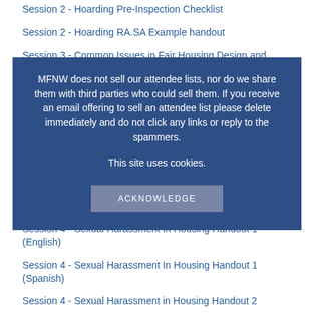Session 2 - Hoarding Pre-Inspection Checklist
Session 2 - Hoarding RA.SA Example handout
Session 3 - Common Issues in Fair Housing Design and Construction Handout
MFNW does not sell our attendee lists, nor do we share them with third parties who could sell them. If you receive an email offering to sell an attendee list please delete immediately and do not click any links or reply to the spammers.

This site uses cookies.

ACKNOWLEDGE
Session 4 - Conflict Engagement Best Practices 2 Handout
Session 4 - Sexual Harassment In Housing Handout 1 (English)
Session 4 - Sexual Harassment In Housing Handout 1 (Spanish)
Session 4 - Sexual Harassment in Housing Handout 2